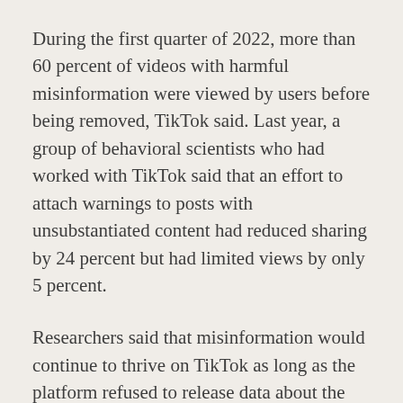During the first quarter of 2022, more than 60 percent of videos with harmful misinformation were viewed by users before being removed, TikTok said. Last year, a group of behavioral scientists who had worked with TikTok said that an effort to attach warnings to posts with unsubstantiated content had reduced sharing by 24 percent but had limited views by only 5 percent.
Researchers said that misinformation would continue to thrive on TikTok as long as the platform refused to release data about the origins of its videos or share insight into its algorithms. Last month, TikTok said it would offer some access to a version of its application programming interface, or A.P.I., this year, but it would not say whether it would do so before the midterms.
Filippo Menczer, an informatics and computer science